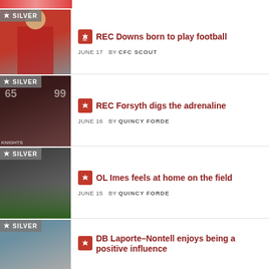[Figure (photo): Partial top strip of previous article image]
SILVER — REC Downs born to play football — JUNE 17 BY CFC SCOUT
SILVER — REC Forsyth digs the adrenaline — JUNE 16 BY QUINCY FORDE
SILVER — OL Imes feels at home on the field — JUNE 15 BY QUINCY FORDE
SILVER — DB Laporte-Nontell enjoys being a positive influence